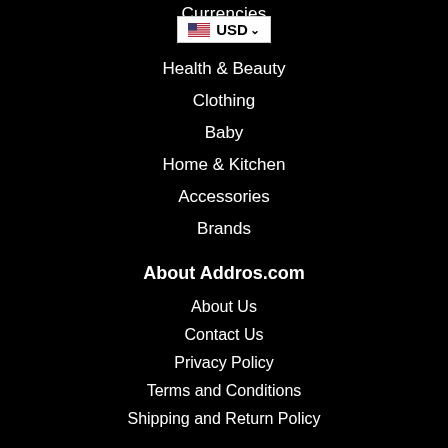[Figure (screenshot): Currency selector showing US flag and USD dropdown]
Health & Beauty
Clothing
Baby
Home & Kitchen
Accessories
Brands
About Addros.com
About Us
Contact Us
Privacy Policy
Terms and Conditions
Shipping and Return Policy